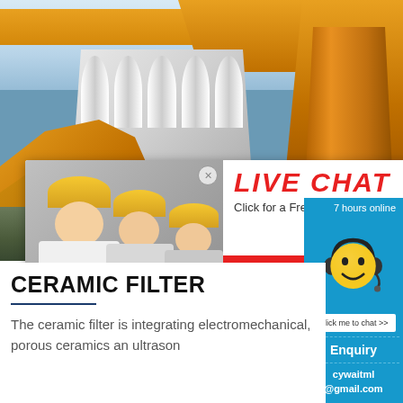[Figure (photo): Industrial ceramic filter machinery with yellow crane/press equipment and white filter structure against a sky background]
[Figure (screenshot): Live chat popup overlay with workers in hard hats, 'LIVE CHAT' in red, 'Click for a Free Consultation', Chat now and Chat later buttons]
[Figure (infographic): Right side blue panel with '7 hours online', yellow smiley face with headset, 'Click me to chat >>' button, 'Enquiry' text, and 'cywaitml @gmail.com' email]
CERAMIC FILTER
The ceramic filter is integrating electromechanical, porous ceramics and ultrason